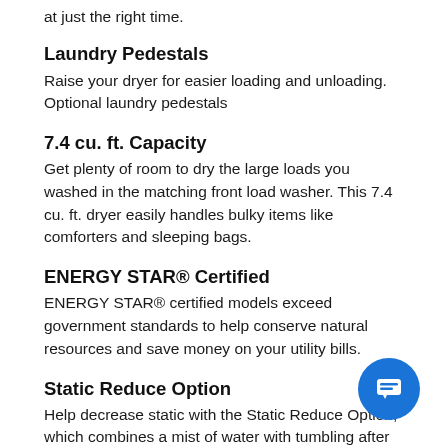at just the right time.
Laundry Pedestals
Raise your dryer for easier loading and unloading. Optional laundry pedestals
7.4 cu. ft. Capacity
Get plenty of room to dry the large loads you washed in the matching front load washer. This 7.4 cu. ft. dryer easily handles bulky items like comforters and sleeping bags.
ENERGY STAR® Certified
ENERGY STAR® certified models exceed government standards to help conserve natural resources and save money on your utility bills.
Static Reduce Option
Help decrease static with the Static Reduce Option, which combines a mist of water with tumbling after the load is dry.
EcoBoost™ Option
Use less energy